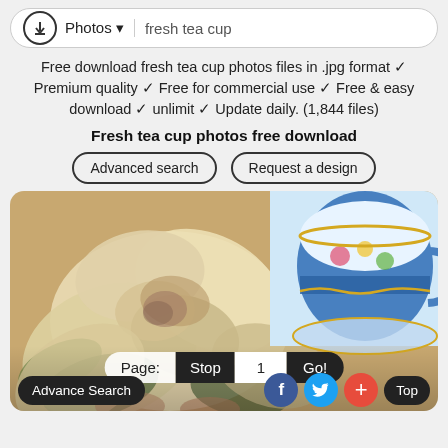Photos ▾  fresh tea cup
Free download fresh tea cup photos files in .jpg format ✓ Premium quality ✓ Free for commercial use ✓ Free & easy download ✓ unlimit ✓ Update daily. (1,844 files)
Fresh tea cup photos free download
Advanced search
Request a design
[Figure (photo): A decorative photo showing a cream-colored rose flower in the foreground and a blue floral-patterned teacup in the background, with pagination controls overlaid]
Page:  Stop  1  Go!
Advance Search   f  (twitter)  +  Top